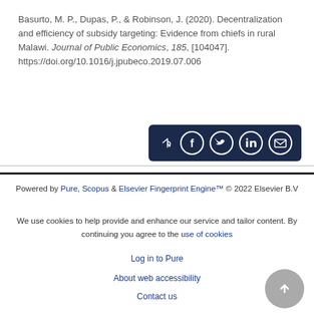Basurto, M. P., Dupas, P., & Robinson, J. (2020). Decentralization and efficiency of subsidy targeting: Evidence from chiefs in rural Malawi. Journal of Public Economics, 185, [104047]. https://doi.org/10.1016/j.jpubeco.2019.07.006
[Figure (other): Share button bar with social media icons: share arrow, Facebook, Twitter, LinkedIn, email on dark navy background]
Powered by Pure, Scopus & Elsevier Fingerprint Engine™ © 2022 Elsevier B.V
We use cookies to help provide and enhance our service and tailor content. By continuing you agree to the use of cookies
Log in to Pure
About web accessibility
Contact us